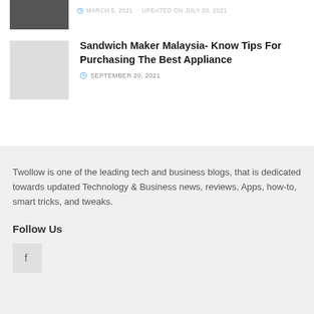[Figure (photo): Partial dark thumbnail image at top left]
MARCH 5, 2021 · UPDATED ON JULY 20, 2021
[Figure (photo): Light grey thumbnail placeholder for sandwich maker article]
Sandwich Maker Malaysia- Know Tips For Purchasing The Best Appliance
SEPTEMBER 20, 2021
Twollow is one of the leading tech and business blogs, that is dedicated towards updated Technology & Business news, reviews, Apps, how-to, smart tricks, and tweaks.
Follow Us
[Figure (logo): Facebook icon button]